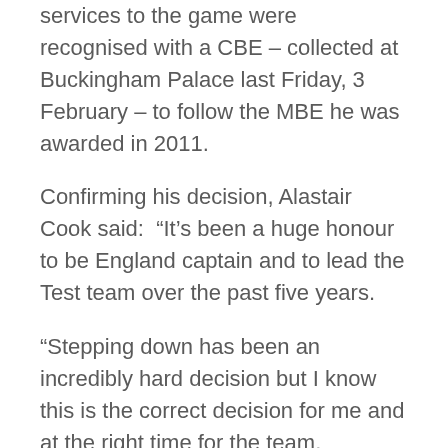services to the game were recognised with a CBE – collected at Buckingham Palace last Friday, 3 February – to follow the MBE he was awarded in 2011.
Confirming his decision, Alastair Cook said: “It’s been a huge honour to be England captain and to lead the Test team over the past five years.
“Stepping down has been an incredibly hard decision but I know this is the correct decision for me and at the right time for the team.
“I’ve had time to reflect after the India series and this weekend I spoke to Colin Graves, the Chairman, to explain and offer my resignation.
“It’s a sad day personally in many ways but I want to thank everyone I’ve captained, all the coaches and support staff and, of course, the